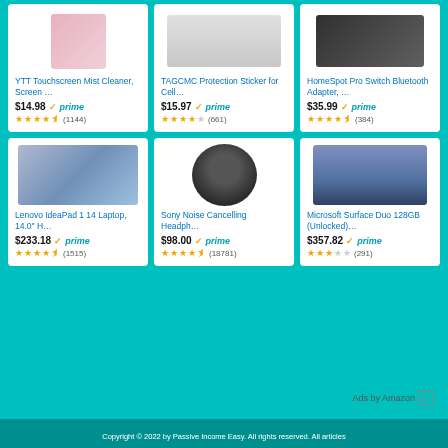[Figure (photo): YTT Touchscreen Mist Cleaner product image (partial, pink/white)]
YTT Touchscreen Mist Cleaner, Screen …
$14.98 prime
★★★★½ (1144)
[Figure (photo): TAGCMC Protection Sticker for Cell product image (white box with earbuds)]
TAGCMC Protection Sticker for Cell…
$15.97 prime
★★★★☆ (661)
[Figure (photo): HomeSpot Pro Switch Bluetooth Adapter product image (dark device)]
HomeSpot Pro Switch Bluetooth Adapter, …
$35.99 prime
★★★★½ (384)
[Figure (photo): Lenovo IdeaPad 1 14 Laptop image]
Lenovo IdeaPad 1 14 Laptop, 14.0" H…
$233.18 prime
★★★★½ (1515)
[Figure (photo): Sony Noise Cancelling Headphones image (black over-ear)]
Sony Noise Cancelling Headph…
$98.00 prime
★★★★½ (18781)
[Figure (photo): Microsoft Surface Duo 128GB dual-screen phone image]
Microsoft Surface Duo 128GB (Unlocked)…
$357.82 prime
★★★☆☆ (291)
Ads by Amazon ▷
Copyright © 2022 by Passive Income Easy. All rights reserved. All articles